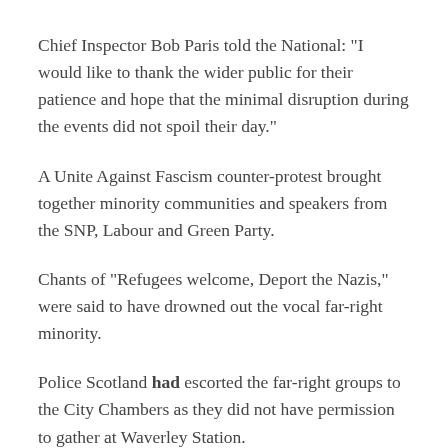Chief Inspector Bob Paris told the National: "I would like to thank the wider public for their patience and hope that the minimal disruption during the events did not spoil their day."
A Unite Against Fascism counter-protest brought together minority communities and speakers from the SNP, Labour and Green Party.
Chants of "Refugees welcome, Deport the Nazis," were said to have drowned out the vocal far-right minority.
Police Scotland had escorted the far-right groups to the City Chambers as they did not have permission to gather at Waverley Station.